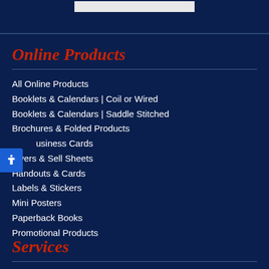Online Products
All Online Products
Booklets & Calendars | Coil or Wired
Booklets & Calendars | Saddle Stitched
Brochures & Folded Products
Business Cards
Flyers & Sell Sheets
Handouts & Cards
Labels & Stickers
Mini Posters
Paperback Books
Promotional Products
Services